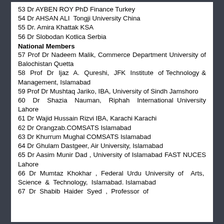53 Dr AYBEN ROY  PhD Finance Turkey
54 Dr AHSAN ALI  Tongji University China
55 Dr. Amira Khattak KSA
56 Dr Slobodan Kotlica Serbia
National Members
57 Prof Dr Nadeem Malik, Commerce Department University of Balochistan Quetta
58 Prof Dr Ijaz A. Qureshi, JFK Institute of Technology & Management, Islamabad
59 Prof Dr Mushtaq Jariko, IBA, University of Sindh Jamshoro
60 Dr Shazia Nauman, Riphah International University Lahore
61 Dr Wajid Hussain Rizvi IBA, Karachi Karachi
62 Dr Orangzab.COMSATS Islamabad
63 Dr Khurrum Mughal COMSATS Islamabad
64 Dr Ghulam Dastgeer, Air University, Islamabad
65 Dr Aasim Munir Dad , University of Islamabad FAST NUCES Lahore
66 Dr Mumtaz Khokhar , Federal Urdu University of Arts, Science & Technology, Islamabad. Islamabad
67 Dr Shabib Haider Syed , Professor of